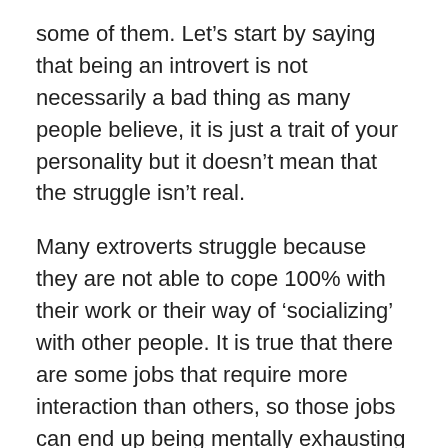some of them. Let's start by saying that being an introvert is not necessarily a bad thing as many people believe, it is just a trait of your personality but it doesn't mean that the struggle isn't real.
Many extroverts struggle because they are not able to cope 100% with their work or their way of 'socializing' with other people. It is true that there are some jobs that require more interaction than others, so those jobs can end up being mentally exhausting for introverts.
Let's mention some of the worst jobs for introverts we consider can be mentally exhausting for them.
Teacher